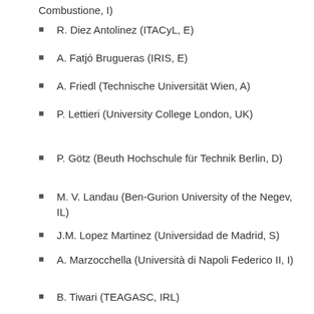Combustione, I)
R. Diez Antolinez (ITACyL, E)
A. Fatjó Brugueras (IRIS, E)
A. Friedl (Technische Universität Wien, A)
P. Lettieri (University College London, UK)
P. Götz (Beuth Hochschule für Technik Berlin, D)
M. V. Landau (Ben-Gurion University of the Negev, IL)
J.M. Lopez Martinez (Universidad de Madrid, S)
A. Marzocchella (Università di Napoli Federico II, I)
I. Meynial Salles (National Institute of Applied Science, F)
B. Tiwari (TEAGASC, IRL)